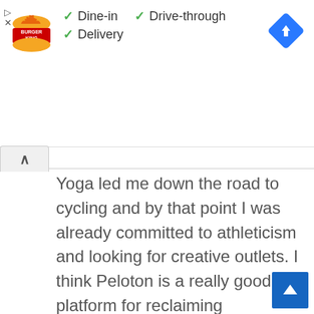[Figure (logo): Burger King logo — orange flame design with red and yellow text on white background]
✓ Dine-in  ✓ Drive-through
✓ Delivery
[Figure (infographic): Blue diamond navigation/directions icon with white turn arrow]
Yoga led me down the road to cycling and by that point I was already committed to athleticism and looking for creative outlets. I think Peloton is a really good platform for reclaiming athleticism. You know, we grow up and we climb trees and we row boats and we run in circles in all these organized sports and then gradually as we start to emphasize school, work, responsibility and family we de-emphasize physical activity. I like to think that every